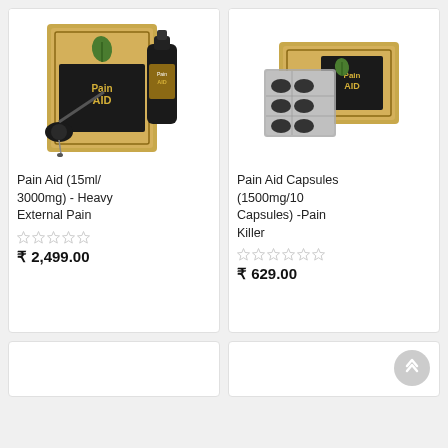[Figure (photo): Product photo: Pain Aid 15ml/3000mg bottle with dropper and box (Cannazo India brand)]
Pain Aid (15ml/ 3000mg) - Heavy External Pain
★★★★★ (empty stars rating)
₹ 2,499.00
[Figure (photo): Product photo: Pain Aid Capsules 1500mg/10 Capsules blister pack with box (Cannazo India brand)]
Pain Aid Capsules (1500mg/10 Capsules) -Pain Killer
★★★★★ (empty stars rating)
₹ 629.00